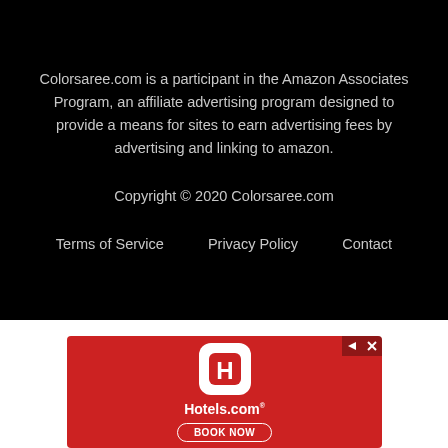Colorsaree.com is a participant in the Amazon Associates Program, an affiliate advertising program designed to provide a means for sites to earn advertising fees by advertising and linking to amazon.
Copyright © 2020 Colorsaree.com
Terms of Service   Privacy Policy   Contact
[Figure (other): Hotels.com advertisement banner with red background, Hotels.com logo (white rounded square with H icon), Hotels.com text, and BOOK NOW button outline]